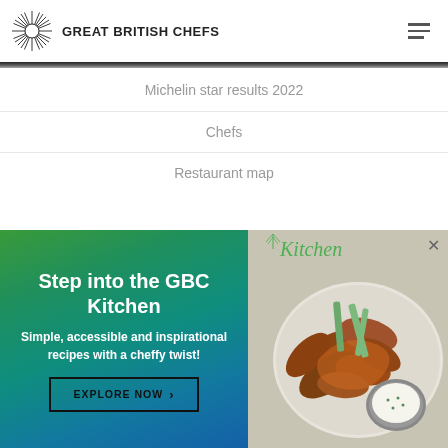GREAT BRITISH CHEFS
Michelin star results 2022
Chefs
Restaurant map
[Figure (screenshot): GBC Kitchen promotional popup with gradient green background on the left showing text 'Step into the GBC Kitchen' and 'Simple, accessible and inspirational recipes with a cheffy twist!' with an EXPLORE NOW button, and a photo of chicken wings on a plate on the right with 'Kitchen' text and a leaf logo]
Step into the GBC Kitchen
Simple, accessible and inspirational recipes with a cheffy twist!
EXPLORE NOW >